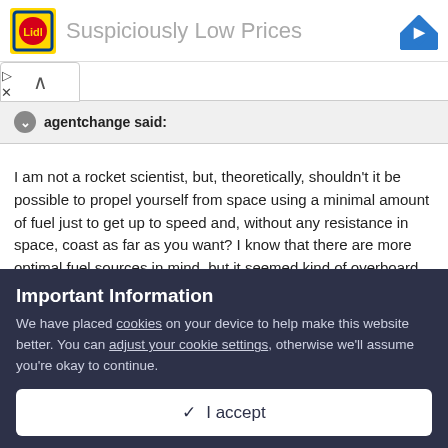[Figure (screenshot): Lidl advertisement banner with Lidl logo on left and blue navigation diamond icon on right, reading 'Suspiciously Low Prices']
agentchange said:
I am not a rocket scientist, but, theoretically, shouldn't it be possible to propel yourself from space using a minimal amount of fuel just to get up to speed and, without any resistance in space, coast as far as you want? I know that there are more optimal fuel sources in mind, but it seemed kind of overboard when they said you would need a billion
Important Information
We have placed cookies on your device to help make this website better. You can adjust your cookie settings, otherwise we'll assume you're okay to continue.
✓  I accept